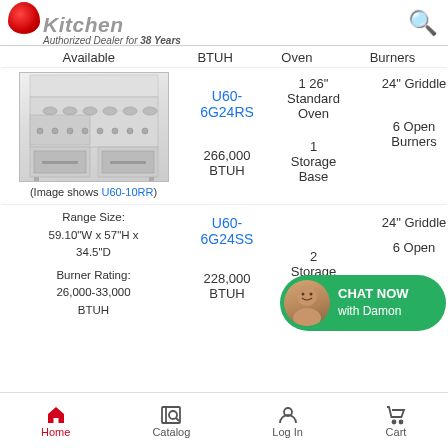CKitchen - Authorized Dealer for 38 Years
| Available | BTUH | Oven | Burners |
| --- | --- | --- | --- |
| (Image shows U60-10RR) | U60-6G24RS
266,000 BTUH | 1 26" Standard Oven
1 Storage Base | 24" Griddle
6 Open Burners |
| Range Size: 59.10"W x 57"H x 34.5"D
Burner Rating: 26,000-33,000 BTUH | U60-6G24SS
228,000 BTUH | 2 Storage Bases | 24" Griddle
6 Open Burners |
[Figure (photo): Commercial stainless steel range with griddle and oven compartments]
CHAT NOW with Damon
Home | Catalog | Log In | Cart